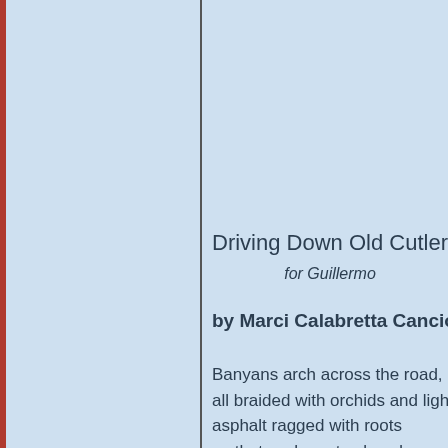Driving Down Old Cutler Roa…
for Guillermo
by Marci Calabretta Cancio-Be…
Banyans arch across the road,
all braided with orchids and light,
asphalt ragged with roots
so that we have to slow down an…
in more than we otherwise might…